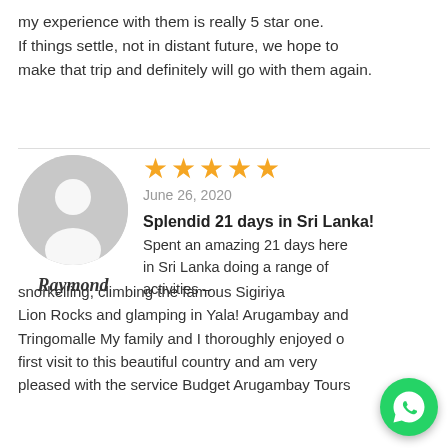my experience with them is really 5 star one. If things settle, not in distant future, we hope to make that trip and definitely will go with them again.
[Figure (illustration): Gray circular avatar placeholder icon showing a generic person silhouette]
★★★★★
June 26, 2020
Splendid 21 days in Sri Lanka!
Raymond
Spent an amazing 21 days here in Sri Lanka doing a range of activities – snorkelling, climbing the famous Sigiriya Lion Rocks and glamping in Yala! Arugambay and Tringomalle My family and I thoroughly enjoyed our first visit to this beautiful country and am very pleased with the service Budget Arugambay Tours